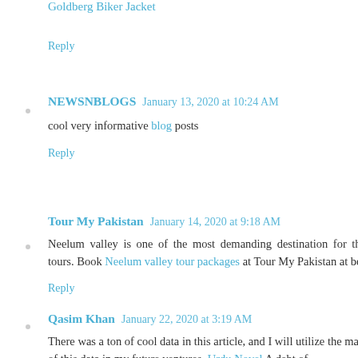Goldberg Biker Jacket
Reply
NEWSNBLOGS January 13, 2020 at 10:24 AM
cool very informative blog posts
Reply
Tour My Pakistan January 14, 2020 at 9:18 AM
Neelum valley is one of the most demanding destination for the holiday tours. Book Neelum valley tour packages at Tour My Pakistan at best price.
Reply
Qasim Khan January 22, 2020 at 3:19 AM
There was a ton of cool data in this article, and I will utilize the majority of this data in my future ventures. Urdu Novel A debt of